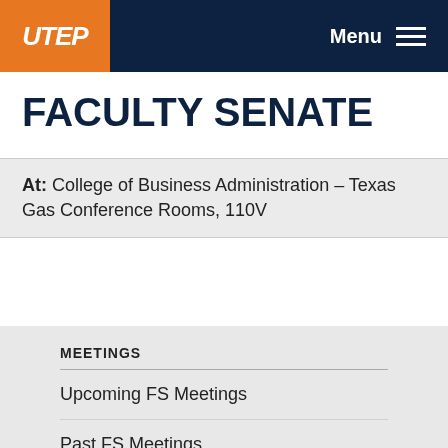[Figure (logo): UTEP logo — orange box with white italic UTEP text — in navigation bar]
Menu
FACULTY SENATE
At: College of Business Administration – Texas Gas Conference Rooms, 110V
MEETINGS
Upcoming FS Meetings
Past FS Meetings
Upcoming Committee Meetings